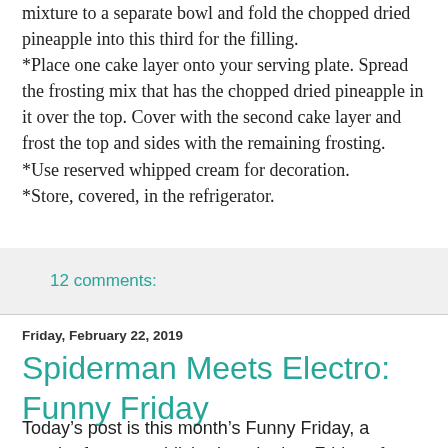mixture to a separate bowl and fold the chopped dried pineapple into this third for the filling.
*Place one cake layer onto your serving plate. Spread the frosting mix that has the chopped dried pineapple in it over the top. Cover with the second cake layer and frost the top and sides with the remaining frosting.
*Use reserved whipped cream for decoration.
*Store, covered, in the refrigerator.
12 comments:
Friday, February 22, 2019
Spiderman Meets Electro: Funny Friday
Today’s post is this month’s Funny Friday, a regular feature published on the last Friday of every month. Funny Friday is a collaborative project. Each month one of the